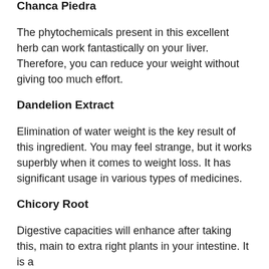Chanca Piedra
The phytochemicals present in this excellent herb can work fantastically on your liver. Therefore, you can reduce your weight without giving too much effort.
Dandelion Extract
Elimination of water weight is the key result of this ingredient. You may feel strange, but it works superbly when it comes to weight loss. It has significant usage in various types of medicines.
Chicory Root
Digestive capacities will enhance after taking this, main to extra right plants in your intestine. It is a